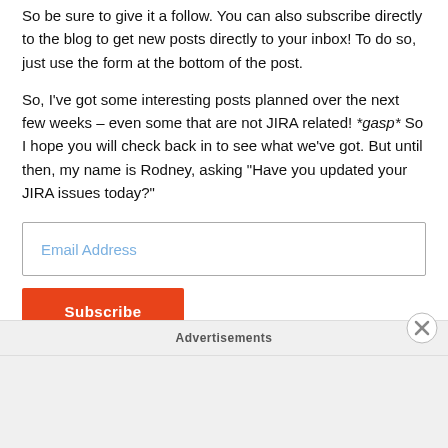So be sure to give it a follow. You can also subscribe directly to the blog to get new posts directly to your inbox! To do so, just use the form at the bottom of the post.
So, I've got some interesting posts planned over the next few weeks – even some that are not JIRA related! *gasp* So I hope you will check back in to see what we've got. But until then, my name is Rodney, asking "Have you updated your JIRA issues today?"
[Figure (screenshot): Email Address input field with light blue placeholder text, bordered box]
[Figure (screenshot): Subscribe button, orange/red background, partially visible]
Advertisements